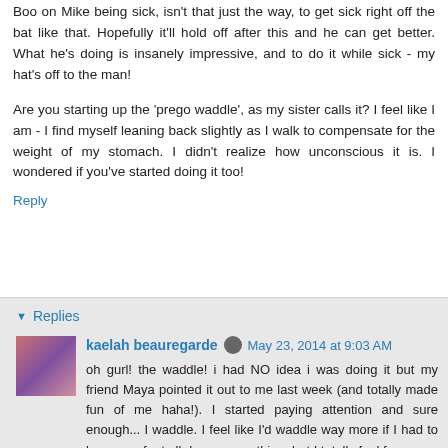Boo on Mike being sick, isn't that just the way, to get sick right off the bat like that. Hopefully it'll hold off after this and he can get better. What he's doing is insanely impressive, and to do it while sick - my hat's off to the man!
Are you starting up the 'prego waddle', as my sister calls it? I feel like I am - I find myself leaning back slightly as I walk to compensate for the weight of my stomach. I didn't realize how unconscious it is. I wondered if you've started doing it too!
Reply
Replies
kaelah beauregarde   May 23, 2014 at 9:03 AM
oh gurl! the waddle! i had NO idea i was doing it but my friend Maya pointed it out to me last week (and totally made fun of me haha!). I started paying attention and sure enough... I waddle. I feel like I'd waddle way more if I had to be on my feet all day or something, but I totally feel for